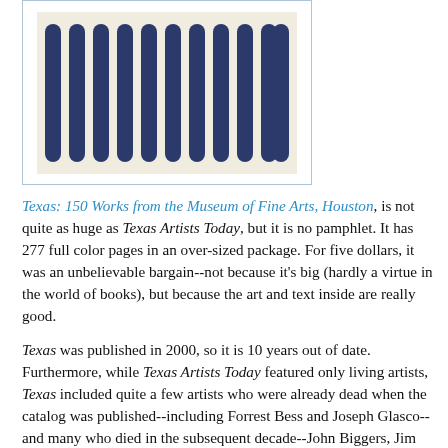[Figure (illustration): A photograph or illustration showing a pattern of dark navy blue vertical stripes with rounded tops on a cream/white background, resembling an abstract painting or textile pattern.]
Texas: 150 Works from the Museum of Fine Arts, Houston, is not quite as huge as Texas Artists Today, but it is no pamphlet. It has 277 full color pages in an over-sized package. For five dollars, it was an unbelievable bargain--not because it's big (hardly a virtue in the world of books), but because the art and text inside are really good.

Texas was published in 2000, so it is 10 years out of date. Furthermore, while Texas Artists Today featured only living artists, Texas included quite a few artists who were already dead when the catalog was published--including Forrest Bess and Joseph Glasco--and many who died in the subsequent decade--John Biggers, Jim Love, Dorothy Hood, Luis Jimenez, etc. Still, I'd say most of the artists in Texas